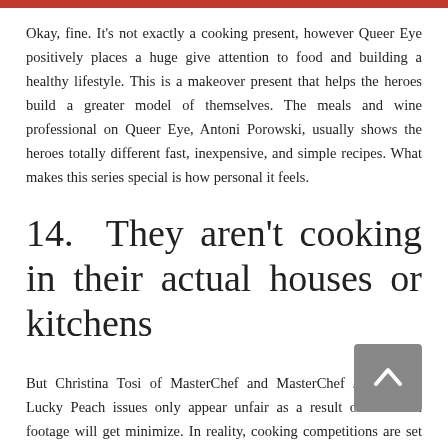Okay, fine. It's not exactly a cooking present, however Queer Eye positively places a huge give attention to food and building a healthy lifestyle. This is a makeover present that helps the heroes build a greater model of themselves. The meals and wine professional on Queer Eye, Antoni Porowski, usually shows the heroes totally different fast, inexpensive, and simple recipes. What makes this series special is how personal it feels.
14. They aren't cooking in their actual houses or kitchens
But Christina Tosi of MasterChef and MasterChef Junior tells Lucky Peach issues only appear unfair as a result of so much footage will get minimize. In reality, cooking competitions are set as much as be as fair as possible. "There is a staff of requirements and practices...